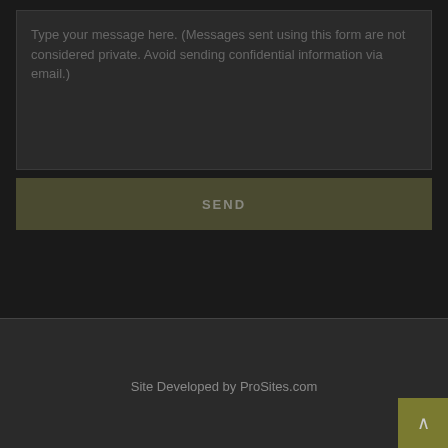Type your message here. (Messages sent using this form are not considered private.  Avoid sending confidential information via email.)
SEND
Site Developed by ProSites.com